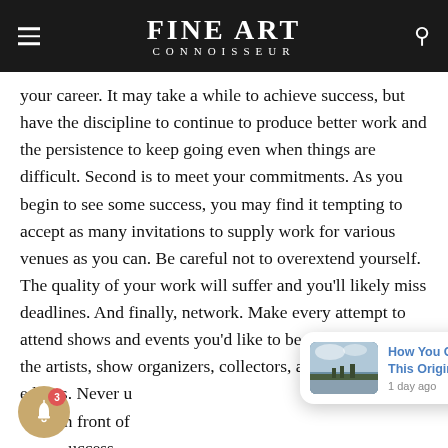Fine Art Connoisseur
your career. It may take a while to achieve success, but have the discipline to continue to produce better work and the persistence to keep going even when things are difficult. Second is to meet your commitments. As you begin to see some success, you may find it tempting to accept as many invitations to supply work for various venues as you can. Be careful not to overextend yourself. The quality of your work will suffer and you'll likely miss deadlines. And finally, network. Make every attempt to attend shows and events you'd like to be a part of. Meet the artists, show organizers, collectors, and magazine editors. Never u… front of … uccess.
[Figure (screenshot): Notification popup with landscape painting thumbnail and text 'How You Could Win This Original Painting' with timestamp '1 day ago', plus close button X]
[Figure (other): Gold notification bell icon with red badge showing count 3]